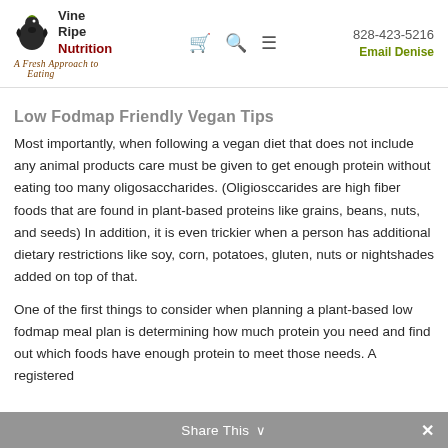Vine Ripe Nutrition | A Fresh Approach to Eating | 828-423-5216 | Email Denise
Low Fodmap Friendly Vegan Tips
Most importantly, when following a vegan diet that does not include any animal products care must be given to get enough protein without eating too many oligosaccharides. (Oligiosccarides are high fiber foods that are found in plant-based proteins like grains, beans, nuts, and seeds) In addition, it is even trickier when a person has additional dietary restrictions like soy, corn, potatoes, gluten, nuts or nightshades added on top of that.
One of the first things to consider when planning a plant-based low fodmap meal plan is determining how much protein you need and find out which foods have enough protein to meet those needs. A registered
Share This ∨  ×